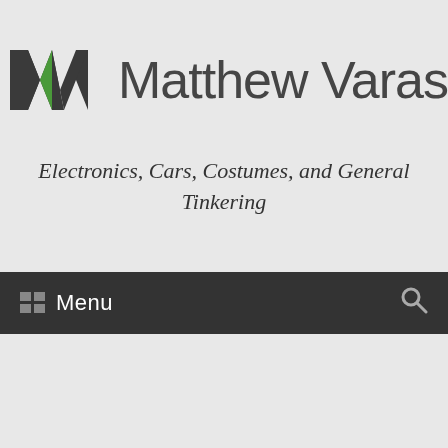[Figure (logo): Matthew Varas website logo: stylized MW monogram in dark gray and green, followed by site name 'Matthew Varas' in large gray sans-serif text]
Electronics, Cars, Costumes, and General Tinkering
Menu